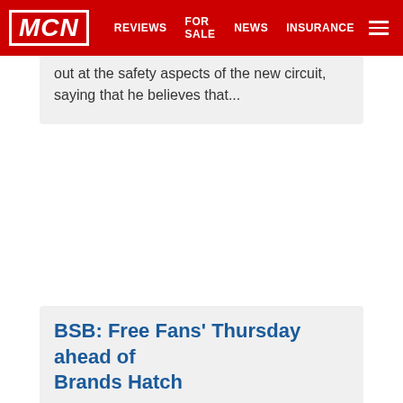MCN | REVIEWS | FOR SALE | NEWS | INSURANCE
out at the safety aspects of the new circuit, saying that he believes that...
BSB: Free Fans' Thursday ahead of Brands Hatch